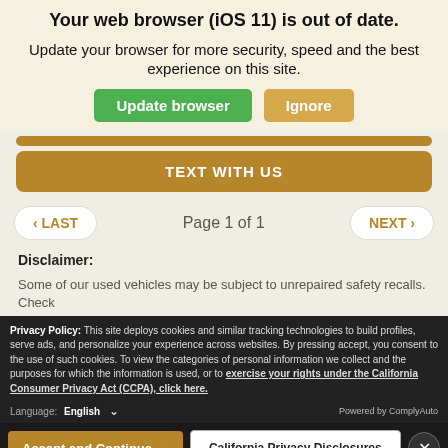Your web browser (iOS 11) is out of date.
Update your browser for more security, speed and the best experience on this site.
TEXT WITH US
Page 1 of 1
Disclaimer:
Some of our used vehicles may be subject to unrepaired safety recalls. Check
Privacy Policy: This site deploys cookies and similar tracking technologies to build profiles, serve ads, and personalize your experience across websites. By pressing accept, you consent to the use of such cookies. To view the categories of personal information we collect and the purposes for which the information is used, or to exercise your rights under the California Consumer Privacy Act (CCPA), click here.
Language: English ∨ Powered by ComplyAuto
Accept and Continue → California Privacy Disclosures ×